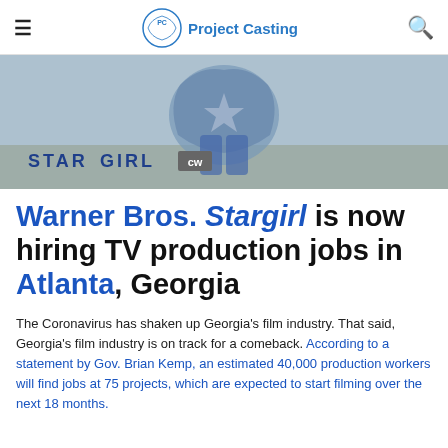Project Casting
[Figure (photo): Banner image for Stargirl TV show on CW network, showing a superhero figure with star emblem, with STARGIRL CW logo overlay]
Warner Bros. Stargirl is now hiring TV production jobs in Atlanta, Georgia
The Coronavirus has shaken up Georgia's film industry. That said, Georgia's film industry is on track for a comeback. According to a statement by Gov. Brian Kemp, an estimated 40,000 production workers will find jobs at 75 projects, which are expected to start filming over the next 18 months.